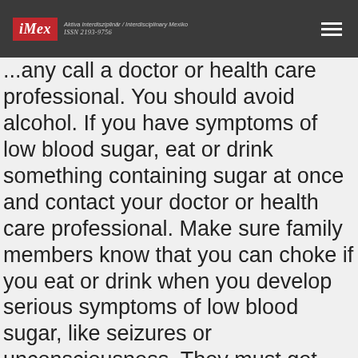iMex — Aktiva Interdisziplinär / Interdisciplinary Mexiko — ISSN 2193-9756
...any call a doctor or health care professional. You should avoid alcohol. If you have symptoms of low blood sugar, eat or drink something containing sugar at once and contact your doctor or health care professional. Make sure family members know that you can choke if you eat or drink when you develop serious symptoms of low blood sugar, like seizures or unconsciousness. They must get medical help at once.
Amaryl can make you more sensitive to the sun. Keep out of the sun. If you cannot avoid being in the sun, wear protective clothing and use sunscreen. Do not use sun lamps or tanning beds/booths.